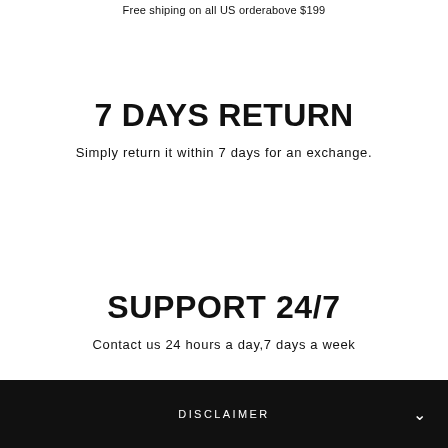Free shiping on all US orderabove $199
7 DAYS RETURN
Simply return it within 7 days for an exchange.
SUPPORT 24/7
Contact us 24 hours a day,7 days a week
DISCLAIMER